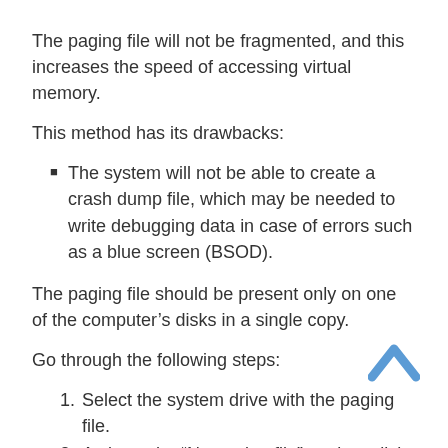The paging file will not be fragmented, and this increases the speed of accessing virtual memory.
This method has its drawbacks:
The system will not be able to create a crash dump file, which may be needed to write debugging data in case of errors such as a blue screen (BSOD).
The paging file should be present only on one of the computer's disks in a single copy.
Go through the following steps:
Select the system drive with the paging file.
Activate the “No paging file” setting, click on the “Set” button.
Agree to disable the swap file.